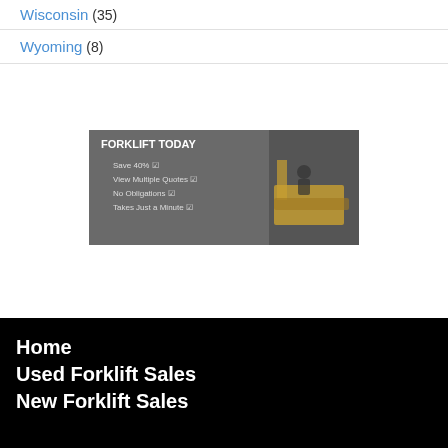Wisconsin (35)
Wyoming (8)
[Figure (screenshot): Advertisement banner for Forklift Today showing a yellow forklift with text: FORKLIFT TODAY, Save 40% ☑, View Multiple Quotes ☑, No Obligations ☑, Takes Just a Minute ☑]
Home
Used Forklift Sales
New Forklift Sales